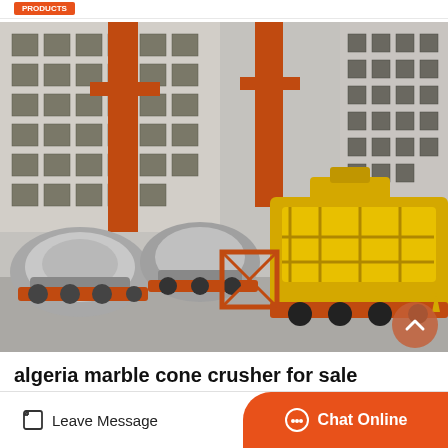[Figure (photo): Industrial mobile cone crushers and mining machinery parked in a factory yard. Silver/grey crushers on the left and yellow crushers on the right, in front of a large industrial building with orange crane pillars.]
algeria marble cone crusher for sale
Leave Message
Chat Online